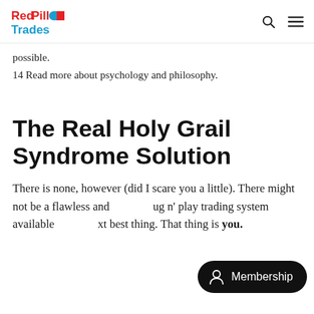RedPill Trades
possible.
14 Read more about psychology and philosophy.
The Real Holy Grail Syndrome Solution
There is none, however (did I scare you a little). There might not be a flawless and plug n' play trading system available, but there is the next best thing. That thing is you.